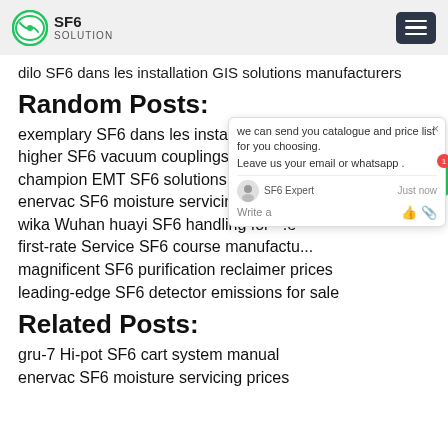SF6 SOLUTION
dilo SF6 dans les installation GIS solutions manufacturers
Random Posts:
exemplary SF6 dans les installation GIS ...
higher SF6 vacuum couplings manufactu...
champion EMT SF6 solutions
enervac SF6 moisture servicing manufa...
wika Wuhan huayi SF6 handling for ...e
first-rate Service SF6 course manufactu...
magnificent SF6 purification reclaimer prices
leading-edge SF6 detector emissions for sale
Related Posts:
gru-7 Hi-pot SF6 cart system manual
enervac SF6 moisture servicing prices